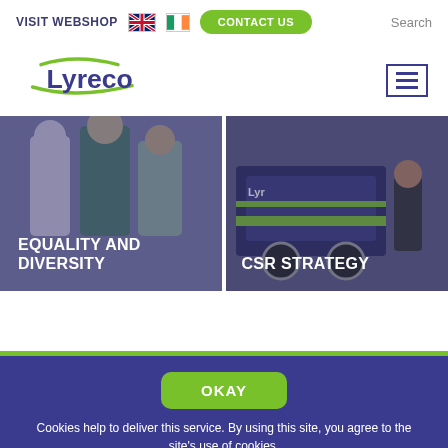VISIT WEBSHOP | [UK flag] [IE flag] | CONTACT US | Search
[Figure (logo): Lyreco logo with green swoosh]
[Figure (photo): Two people walking - EQUALITY AND DIVERSITY card]
[Figure (photo): Delivery truck/worker - CSR STRATEGY card]
OKAY
Cookies help to deliver this service. By using this site, you agree to the site's use of cookies.